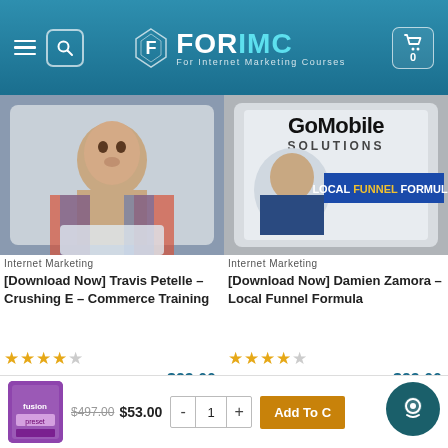[Figure (screenshot): ForIMC website header with navigation hamburger menu, search icon, ForIMC logo, and cart icon showing 0 items]
[Figure (photo): Product thumbnail: man in plaid shirt sitting on couch, video screenshot for Travis Petelle Crushing E-Commerce Training]
Internet Marketing
[Download Now] Travis Petelle – Crushing E – Commerce Training
★★★★☆ $497.00 $23.00
[Figure (photo): Product thumbnail: GoMobile Solutions Local Funnel Formula course cover with man in suit and blue banner]
Internet Marketing
[Download Now] Damien Zamora – Local Funnel Formula
★★★★☆ $997.00 $23.00
[Figure (screenshot): Bottom cart bar showing a purple course thumbnail, original price $497.00, sale price $53.00, quantity control, and Add To Cart button]